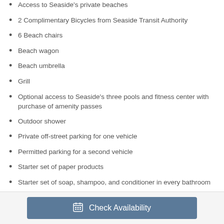Access to Seaside's private beaches
2 Complimentary Bicycles from Seaside Transit Authority
6 Beach chairs
Beach wagon
Beach umbrella
Grill
Optional access to Seaside's three pools and fitness center with purchase of amenity passes
Outdoor shower
Private off-street parking for one vehicle
Permitted parking for a second vehicle
Starter set of paper products
Starter set of soap, shampoo, and conditioner in every bathroom
Check Availability